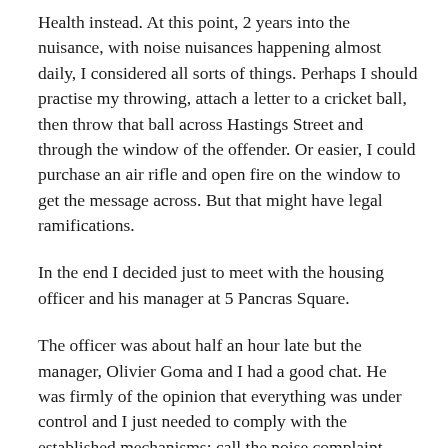Health instead. At this point, 2 years into the nuisance, with noise nuisances happening almost daily, I considered all sorts of things. Perhaps I should practise my throwing, attach a letter to a cricket ball, then throw that ball across Hastings Street and through the window of the offender. Or easier, I could purchase an air rifle and open fire on the window to get the message across. But that might have legal ramifications.
In the end I decided just to meet with the housing officer and his manager at 5 Pancras Square.
The officer was about half an hour late but the manager, Olivier Goma and I had a good chat. He was firmly of the opinion that everything was under control and I just needed to comply with the established mechanisms: call the noise complaint number and report online. But I kept coming back to the point that I had tried that for 2